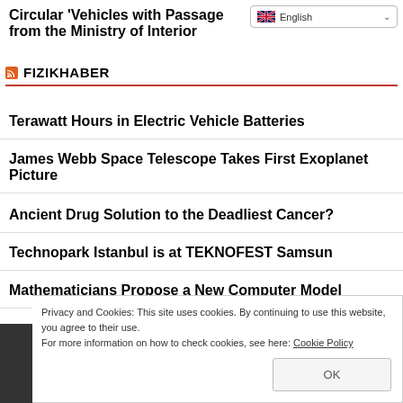Circular 'Vehicles with Passage from the Ministry of Interior
FIZIKHABER
Terawatt Hours in Electric Vehicle Batteries
James Webb Space Telescope Takes First Exoplanet Picture
Ancient Drug Solution to the Deadliest Cancer?
Technopark Istanbul is at TEKNOFEST Samsun
Mathematicians Propose a New Computer Model
Privacy and Cookies: This site uses cookies. By continuing to use this website, you agree to their use.
For more information on how to check cookies, see here: Cookie Policy
MAY 2022